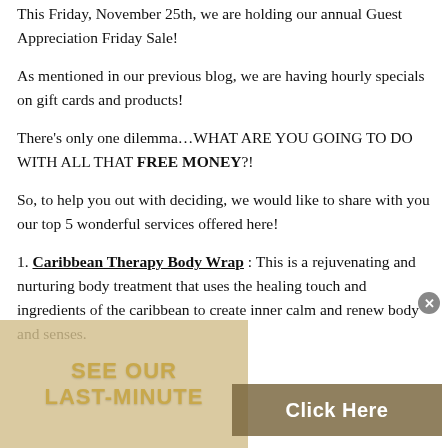This Friday, November 25th, we are holding our annual Guest Appreciation Friday Sale!
As mentioned in our previous blog, we are having hourly specials on gift cards and products!
There’s only one dilemma…WHAT ARE YOU GOING TO DO WITH ALL THAT FREE MONEY?!
So, to help you out with deciding, we would like to share with you our top 5 wonderful services offered here!
1. Caribbean Therapy Body Wrap : This is a rejuvenating and nurturing body treatment that uses the healing touch and ingredients of the caribbean to create inner calm and renew body and senses.
[Figure (other): Overlay with tan background showing 'SEE OUR LAST-MINUTE' text and a dark brown 'Click Here' button, plus an X close button in the corner.]